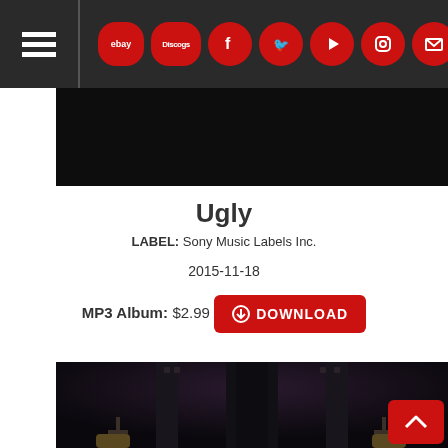Navigation bar with hamburger menu, ebay, Discogs, Facebook, Twitter, YouTube, Instagram, Email icons
[Figure (photo): Dark hero banner image]
Ugly
LABEL: Sony Music Labels Inc.
2015-11-18
MP3 Album: $2.99  DOWNLOAD
[Figure (photo): Dark fantasy/gothic album artwork showing a hooded figure with ornate gothic architecture]